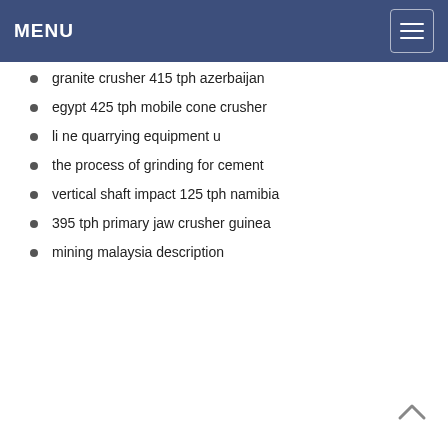MENU
granite crusher 415 tph azerbaijan
egypt 425 tph mobile cone crusher
li ne quarrying equipment u
the process of grinding for cement
vertical shaft impact 125 tph namibia
395 tph primary jaw crusher guinea
mining malaysia description